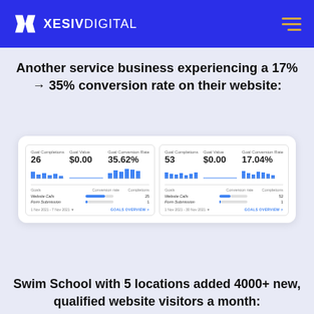XESIV DIGITAL
Another service business experiencing a 17% → 35% conversion rate on their website:
[Figure (screenshot): Google Analytics Goals Overview screenshot showing two panels. Left panel: Goal Completions 26, Goal Value $0.00, Goal Conversion Rate 35.62%. Goals table: Website Calls 25, Form Submission 1. Date: 1 Nov 2021 - 7 Nov 2021. Right panel: Goal Completions 53, Goal Value $0.00, Goal Conversion Rate 17.04%. Goals table: Website Calls 52, Form Submission 1. Date: 1 Nov 2021 - 30 Nov 2021.]
Swim School with 5 locations added 4000+ new, qualified website visitors a month: